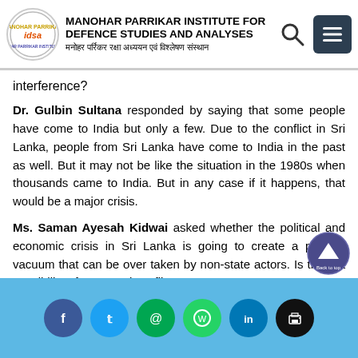MANOHAR PARRIKAR INSTITUTE FOR DEFENCE STUDIES AND ANALYSES
interference?
Dr. Gulbin Sultana responded by saying that some people have come to India but only a few. Due to the conflict in Sri Lanka, people from Sri Lanka have come to India in the past as well. But it may not be like the situation in the 1980s when thousands came to India. But in any case if it happens, that would be a major crisis.
Ms. Saman Ayesah Kidwai asked whether the political and economic crisis in Sri Lanka is going to create a political vacuum that can be over taken by non-state actors. Is there a possibility of an armed conflict?
Social media links: Facebook, Twitter, Email, WhatsApp, LinkedIn, Print